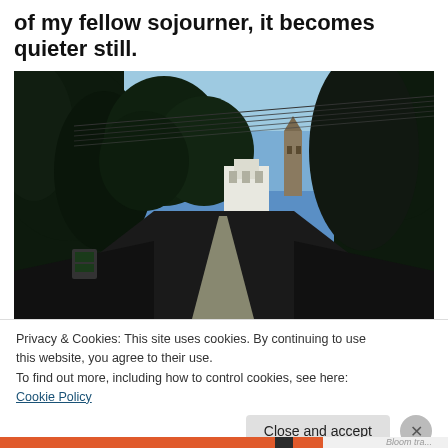of my fellow sojourner, it becomes quieter still.
[Figure (photo): A railway track stretching into the distance, flanked on both sides by dark dense trees. A church tower and white building are visible in the background under a clear blue sky. Power lines run overhead.]
Privacy & Cookies: This site uses cookies. By continuing to use this website, you agree to their use.
To find out more, including how to control cookies, see here: Cookie Policy
Close and accept